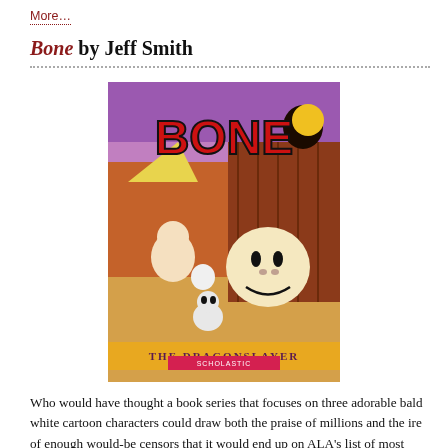More…
Bone by Jeff Smith
[Figure (photo): Book cover of 'Bone: The Dragonslayer' by Jeff Smith, published by Scholastic. Features colorful cartoon characters including white bald cartoon figures and the large red 'BONE' logo on a purple/orange background.]
Who would have thought a book series that focuses on three adorable bald white cartoon characters could draw both the praise of millions and the ire of enough would-be censors that it would end up on ALA's list of most challenged books? It happened just this year, when Bone landed